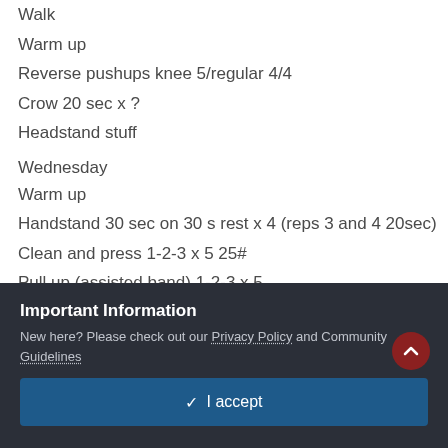Walk
Warm up
Reverse pushups knee 5/regular 4/4
Crow 20 sec x ?
Headstand stuff
Wednesday
Warm up
Handstand 30 sec on 30 s rest x 4 (reps 3 and 4 20sec)
Clean and press 1-2-3 x 5 25#
Pull up (assisted band) 1-2-3 x 5
Mobility squat
Important Information
New here? Please check out our Privacy Policy and Community Guidelines
✓ I accept